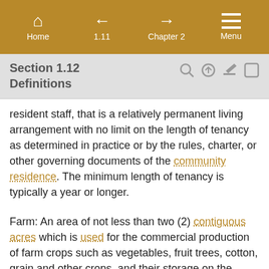Home | 1.11 | Chapter 2 | Menu
Section 1.12 Definitions
resident staff, that is a relatively permanent living arrangement with no limit on the length of tenancy as determined in practice or by the rules, charter, or other governing documents of the community residence. The minimum length of tenancy is typically a year or longer.
Farm: An area of not less than two (2) contiguous acres which is used for the commercial production of farm crops such as vegetables, fruit trees, cotton, grain and other crops, and their storage on the area, as well as the raising thereon of farm poultry and farm animals, such as horses, cattle, and